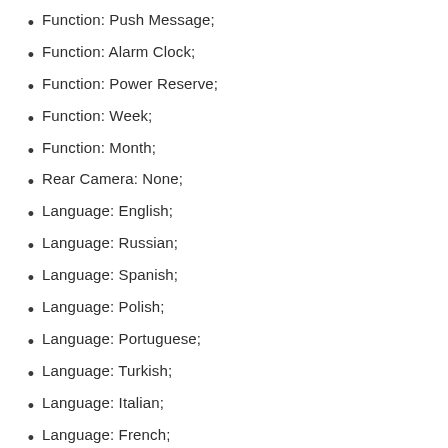Function: Push Message;
Function: Alarm Clock;
Function: Power Reserve;
Function: Week;
Function: Month;
Rear Camera: None;
Language: English;
Language: Russian;
Language: Spanish;
Language: Polish;
Language: Portuguese;
Language: Turkish;
Language: Italian;
Language: French;
Language: German;
Language: Korean;
Language: Japanese;